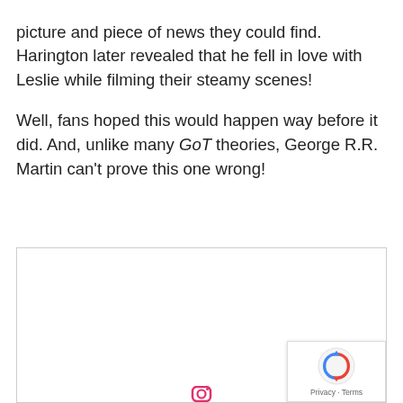picture and piece of news they could find. Harington later revealed that he fell in love with Leslie while filming their steamy scenes!
Well, fans hoped this would happen way before it did. And, unlike many GoT theories, George R.R. Martin can't prove this one wrong!
[Figure (photo): A framed image box with a reCAPTCHA privacy badge in the bottom-right corner and a partial Instagram icon at the bottom center]